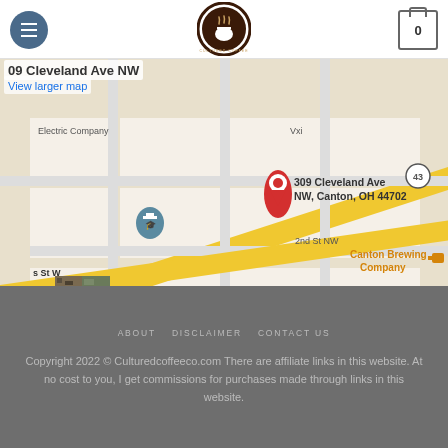[Figure (screenshot): Website header with hamburger menu button, Cultured Coffee logo in center, and shopping cart icon (0) on right]
309 Cleveland Ave NW
View larger map
[Figure (map): Google Maps screenshot showing 309 Cleveland Ave NW, Canton, OH 44702 with a red pin marker. Shows Canton Brewing Company, Muggswigz Coffee & T, 2nd St NW, Electric Company. Map data ©2022. Zoom +/- controls visible. Keyboard shortcuts and Terms of Use labels at bottom.]
ABOUT   DISCLAIMER   CONTACT US
Copyright 2022 © Culturedcoffeeco.com There are affiliate links in this website. At no cost to you, I get commissions for purchases made through links in this website.